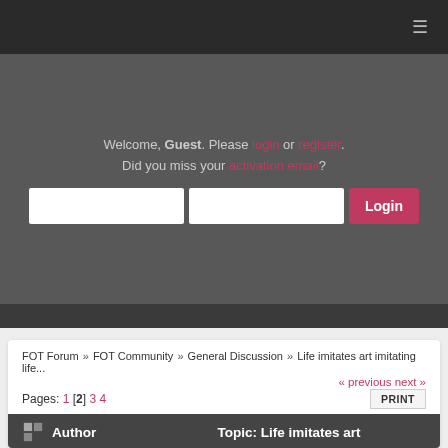≡
Welcome, Guest. Please login or register.
Did you miss your activation email?
[Figure (screenshot): Login form with two text input fields and a Login button]
FOT Forum » FOT Community » General Discussion » Life imitates art imitating life...
« previous next »
Pages: 1 [2] 3 4
Author   Topic: Life imitates art